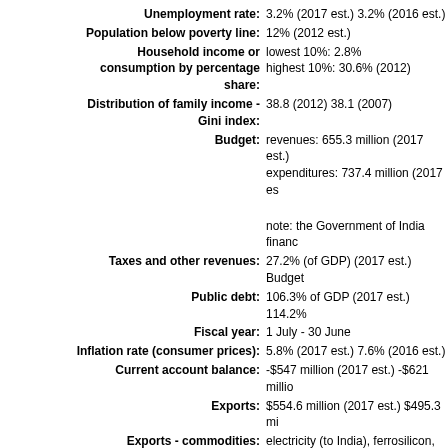Unemployment rate: 3.2% (2017 est.) 3.2% (2016 est.)
Population below poverty line: 12% (2012 est.)
Household income or consumption by percentage share: lowest 10%: 2.8% highest 10%: 30.6% (2012)
Distribution of family income - Gini index: 38.8 (2012) 38.1 (2007)
Budget: revenues: 655.3 million (2017 est.) expenditures: 737.4 million (2017 est.)
note: the Government of India finances
Taxes and other revenues: 27.2% (of GDP) (2017 est.) Budget
Public debt: 106.3% of GDP (2017 est.) 114.2%
Fiscal year: 1 July - 30 June
Inflation rate (consumer prices): 5.8% (2017 est.) 7.6% (2016 est.)
Current account balance: -$547 million (2017 est.) -$621 million
Exports: $554.6 million (2017 est.) $495.3 million
Exports - commodities: electricity (to India), ferrosilicon, cement
Exports - partners: India 95.3% (2017)
Imports: $1.025 billion (2017 est.) $1.03 billion
Imports - commodities: fuel and lubricants, airplanes, machinery
Imports - partners: India 89.5% (2017)
Reserves of foreign exchange and gold: $1.206 billion (31 December 2017 est.)
Debt - external: $2.671 billion (31 December 2017 est.)